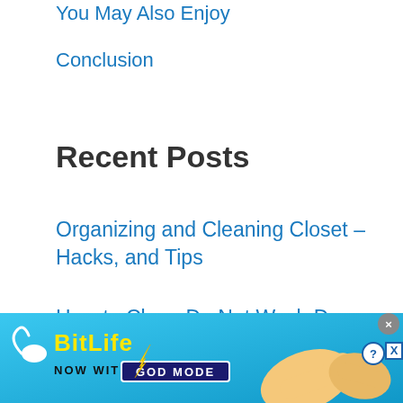You May Also Enjoy
Conclusion
Recent Posts
Organizing and Cleaning Closet – Hacks, and Tips
How to Clean Do Not Wash Dry Clean Only Clothes
Colorful Decorating Ideas for a Yellow Bathroom
[Figure (screenshot): Advertisement banner for BitLife game: 'NOW WITH GOD MODE' on a blue background with cartoon hand illustrations]